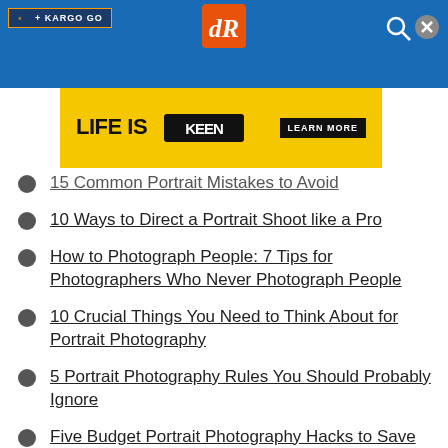dR | Digital Photography School
[Figure (screenshot): Yellow advertisement banner: LIFE IS KEEN - LEARN MORE]
15 Common Portrait Mistakes to Avoid
10 Ways to Direct a Portrait Shoot like a Pro
How to Photograph People: 7 Tips for Photographers Who Never Photograph People
10 Crucial Things You Need to Think About for Portrait Photography
5 Portrait Photography Rules You Should Probably Ignore
Five Budget Portrait Photography Hacks to Save You Money
8 Lessons Learned from My First Attempt at